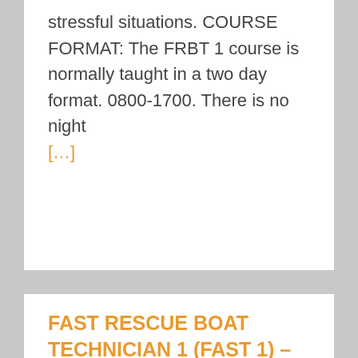stressful situations. COURSE FORMAT: The FRBT 1 course is normally taught in a two day format. 0800-1700. There is no night [...]
FAST RESCUE BOAT TECHNICIAN 1 (FAST 1) – South Padre Island FD – Closed
Open   Open Instructor: Wesley Meyer Class size: Limited to 4 per available boat Preregistration Required: (10% late fee less than 14 days before class) COURSE